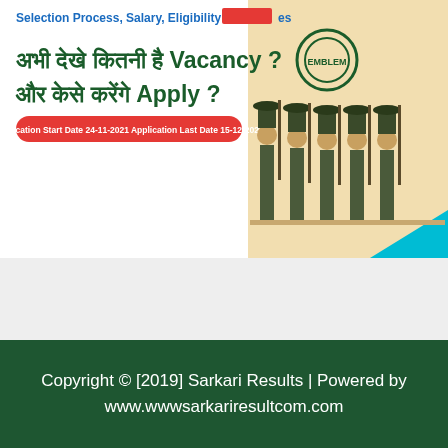[Figure (illustration): Government job recruitment banner in Hindi. Top text reads 'Selection Process, Salary, Eligibility Crite[redacted]es' in blue bold. Hindi text: 'अभी देखे कितनी है Vacancy? और केसे करेंगे Apply?' in green/blue bold. Red pill with text: 'Application Start Date 24-11-2021 Application Last Date 15-12-2021'. Right side shows uniformed soldiers standing in formation on a beige/cream background with a teal triangle accent.]
Copyright © [2019] Sarkari Results | Powered by www.wwwsarkariresultcom.com